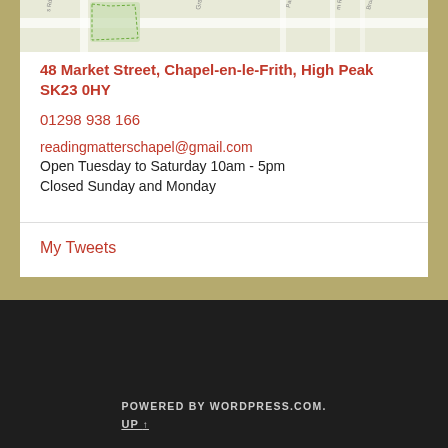[Figure (map): Street map showing area around 48 Market Street, Chapel-en-le-Frith, High Peak]
48 Market Street, Chapel-en-le-Frith, High Peak SK23 0HY
01298 938 166
readingmatterschapel@gmail.com
Open Tuesday to Saturday 10am - 5pm
Closed Sunday and Monday
My Tweets
POWERED BY WORDPRESS.COM. UP ↑